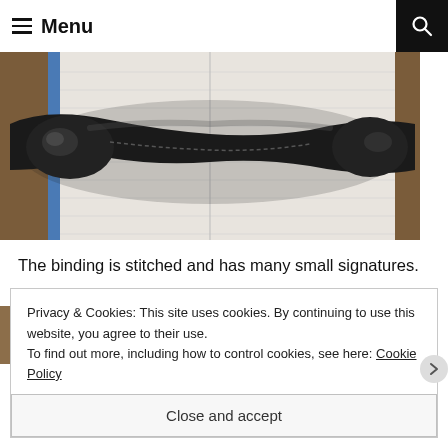Menu
[Figure (photo): Close-up photo of a black leather bookbinding strap on a white notebook/journal, placed on a wooden surface. The strap is dark and glossy with visible stitching.]
The binding is stitched and has many small signatures.
[Figure (photo): Partial photo showing an open notebook/journal from above, partially visible at bottom of frame.]
Privacy & Cookies: This site uses cookies. By continuing to use this website, you agree to their use.
To find out more, including how to control cookies, see here: Cookie Policy
Close and accept